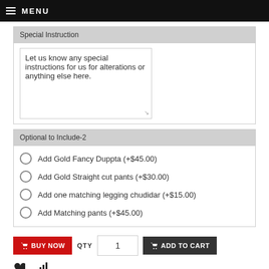MENU
Special Instruction
Let us know any special instructions for us for alterations or anything else here.
Optional to Include-2
Add Gold Fancy Duppta (+$45.00)
Add Gold Straight cut pants (+$30.00)
Add one matching legging chudidar (+$15.00)
Add Matching pants (+$45.00)
BUY NOW  QTY  1  ADD TO CART